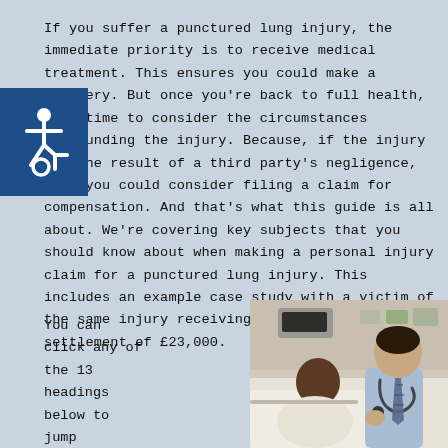If you suffer a punctured lung injury, the immediate priority is to receive medical treatment. This ensures you could make a recovery. But once you're back to full health, it's time to consider the circumstances surrounding the injury. Because, if the injury was the result of a third party's negligence, then you could consider filing a claim for compensation. And that's what this guide is all about. We're covering key subjects that you should know about when making a personal injury claim for a punctured lung injury. This includes an example case study with a victim of the same injury receiving a compensation settlement of £23,000.
[Figure (illustration): Blue accessibility icon (wheelchair symbol) on dark blue background square]
You can click any of the 13 headings below to jump ahead to the section of your
[Figure (photo): A doctor with a stethoscope around his neck speaking to a patient lying in a hospital bed. The patient is an older man in a hospital gown. The setting is a hospital room.]